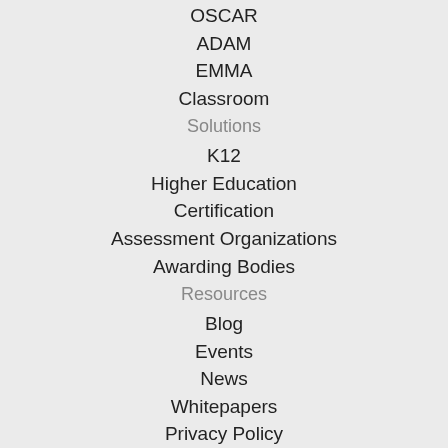OSCAR
ADAM
EMMA
Classroom
Solutions
K12
Higher Education
Certification
Assessment Organizations
Awarding Bodies
Resources
Blog
Events
News
Whitepapers
Privacy Policy